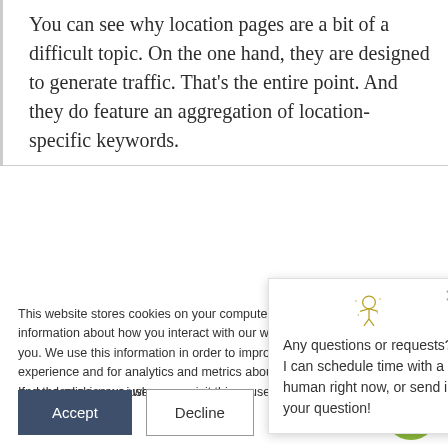You can see why location pages are a bit of a difficult topic. On the one hand, they are designed to generate traffic. That’s the entire point. And they do feature an aggregation of location-specific keywords.
This website stores cookies on your computer. These cookies are used to collect information about how you interact with our website and allow us to remember you. We use this information in order to improve and customize your browsing experience and for analytics and metrics about our visitors both on this website and [truncated by overlay] the cookies we use, [truncated by overlay]
If you decline, your i[nformation won’t be tracked] when you visit this w[ebsite. A single cookie will be] used in your browse[r to remember your preference] not to be tracked.
[Figure (screenshot): Chat popup overlay with robot icon, close button (X), and text: Any questions or requests? I can schedule time with a human right now, or send in your question!]
Any questions or requests? I can schedule time with a human right now, or send in your question!
[Figure (other): Accept button (dark blue/slate) and Decline button (outlined), plus green circular chat bubble button in bottom right]